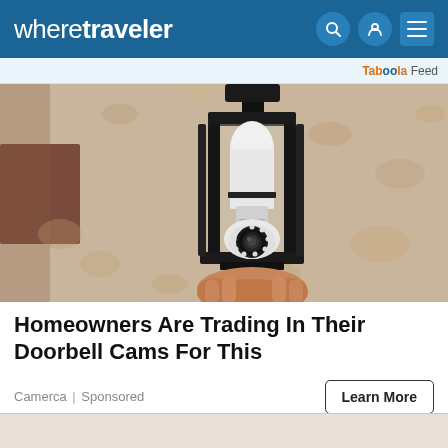wheretraveler
Taboola Feed
[Figure (photo): A security camera disguised as a light bulb installed inside a black outdoor lantern fixture mounted on a textured beige/tan stucco wall. A person's hand is visible at the bottom holding or installing the device.]
Homeowners Are Trading In Their Doorbell Cams For This
Camerca | Sponsored
Learn More